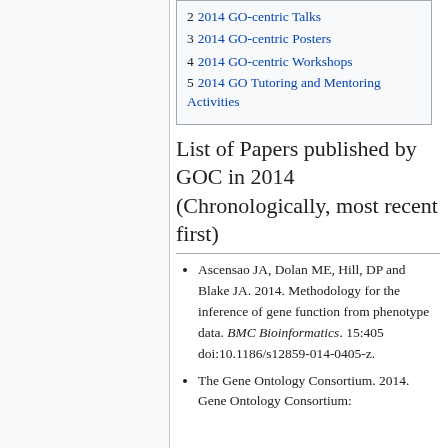2  2014 GO-centric Talks
3  2014 GO-centric Posters
4  2014 GO-centric Workshops
5  2014 GO Tutoring and Mentoring Activities
List of Papers published by GOC in 2014 (Chronologically, most recent first)
Ascensao JA, Dolan ME, Hill, DP and Blake JA. 2014. Methodology for the inference of gene function from phenotype data. BMC Bioinformatics. 15:405 doi:10.1186/s12859-014-0405-z.
The Gene Ontology Consortium. 2014. Gene Ontology Consortium: